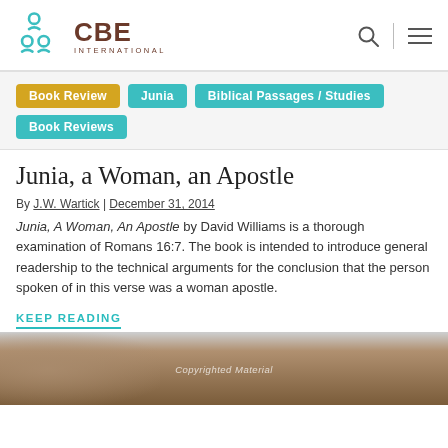CBE International
Book Review
Junia
Biblical Passages / Studies
Book Reviews
Junia, a Woman, an Apostle
By J.W. Wartick | December 31, 2014
Junia, A Woman, An Apostle by David Williams is a thorough examination of Romans 16:7. The book is intended to introduce general readership to the technical arguments for the conclusion that the person spoken of in this verse was a woman apostle.
KEEP READING
[Figure (photo): Partial view of a sepia-toned or brown-toned image at the bottom of the page with a copyright watermark overlay reading 'Copyrighted Material']